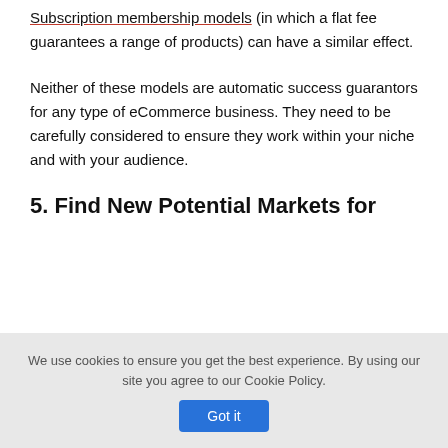Subscription membership models (in which a flat fee guarantees a range of products) can have a similar effect.
Neither of these models are automatic success guarantors for any type of eCommerce business. They need to be carefully considered to ensure they work within your niche and with your audience.
5. Find New Potential Markets for
We use cookies to ensure you get the best experience. By using our site you agree to our Cookie Policy.